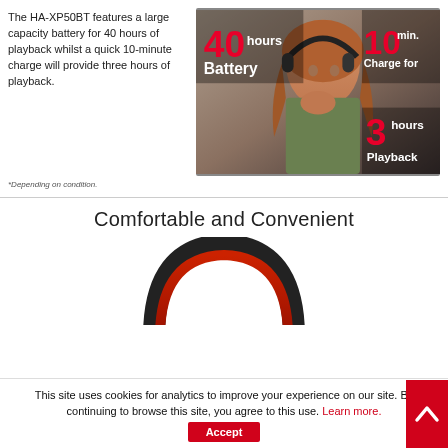The HA-XP50BT features a large capacity battery for 40 hours of playback whilst a quick 10-minute charge will provide three hours of playback.
[Figure (photo): Promotional image of a woman wearing headphones with bold text overlay: '40 hours Battery', '10 min. Charge for', '3 hours Playback']
*Depending on condition.
Comfortable and Convenient
[Figure (photo): Top arc of a red and black over-ear headphone]
This site uses cookies for analytics to improve your experience on our site. By continuing to browse this site, you agree to this use. Learn more.
Accept